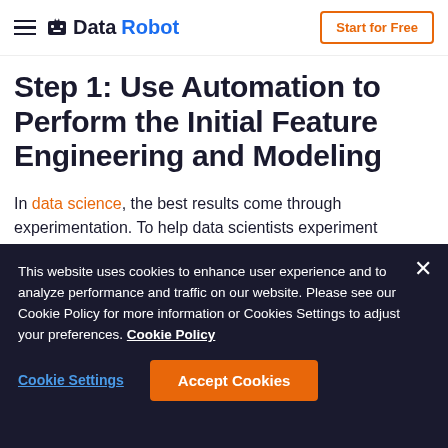DataRobot — Start for Free
Step 1: Use Automation to Perform the Initial Feature Engineering and Modeling
In data science, the best results come through experimentation. To help data scientists experiment effectively and quickly, DataRobot offers a suite of built-in automation capabilities that tries out various machine
This website uses cookies to enhance user experience and to analyze performance and traffic on our website. Please see our Cookie Policy for more information or Cookies Settings to adjust your preferences. Cookie Policy
Cookie Settings   Accept Cookies